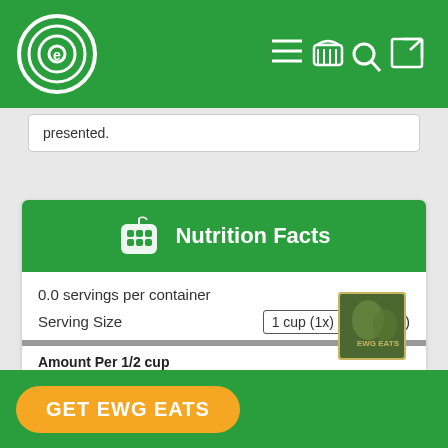EWG navigation header with logo and icons
presented.
| 0.0 servings per container |
| Serving Size | 1 cup (1x) | (85 g) |
| Amount Per 1/2 cup |
| Calories | 140 |
| % Daily Value (based on a 2,000 calorie diet and adult bodyweight) |
GET EWG EATS